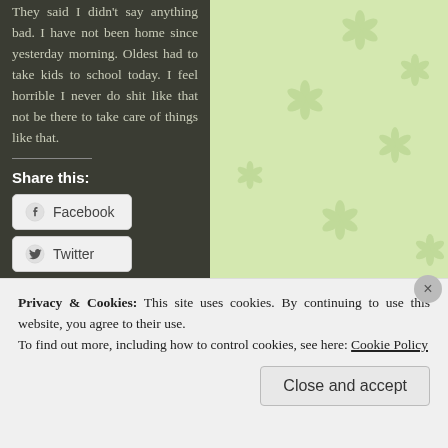[Figure (illustration): Light green background with decorative flower/asterisk shapes scattered across it]
They said I didn't say anything bad. I have not been home since yesterday morning. Oldest had to take kids to school today. I feel horrible I never do shit like that not be there to take care of things like that.
Share this:
Facebook
Twitter
Pinterest
Email
Privacy & Cookies: This site uses cookies. By continuing to use this website, you agree to their use.
To find out more, including how to control cookies, see here: Cookie Policy
Close and accept